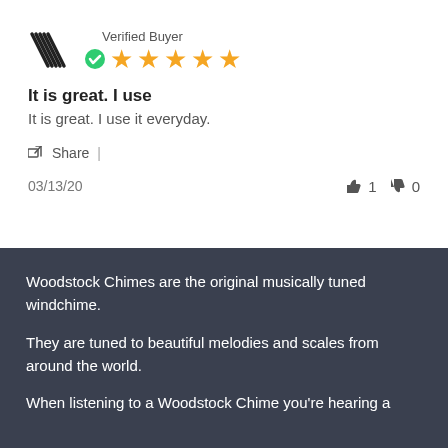Verified Buyer
[Figure (illustration): Star rating (5 stars) with verified buyer checkmark badge and logo icon]
It is great. I use
It is great. I use it everyday.
Share |
03/13/20   👍 1  👎 0
Woodstock Chimes are the original musically tuned windchime.
They are tuned to beautiful melodies and scales from around the world.
When listening to a Woodstock Chime you're hearing a